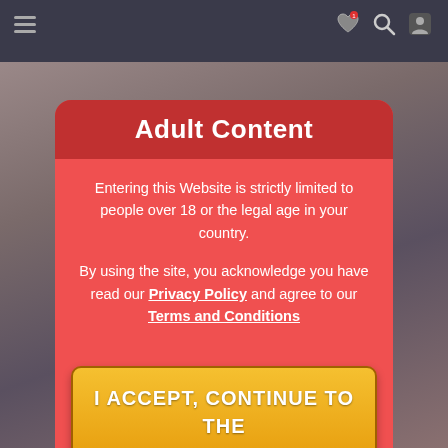[Figure (screenshot): Blurred website background with dark navigation bar at top and blurred adult content imagery below]
Adult Content
Entering this Website is strictly limited to people over 18 or the legal age in your country.
By using the site, you acknowledge you have read our Privacy Policy and agree to our Terms and Conditions
I ACCEPT, CONTINUE TO THE WEBSITE